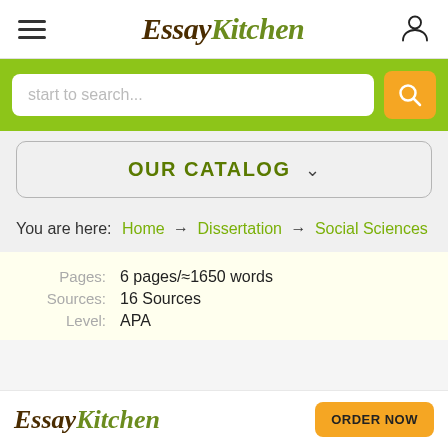EssayKitchen
start to search...
OUR CATALOG
You are here: Home → Dissertation → Social Sciences
Pages: 6 pages/≈1650 words
Sources: 16 Sources
Level: APA
EssayKitchen  ORDER NOW